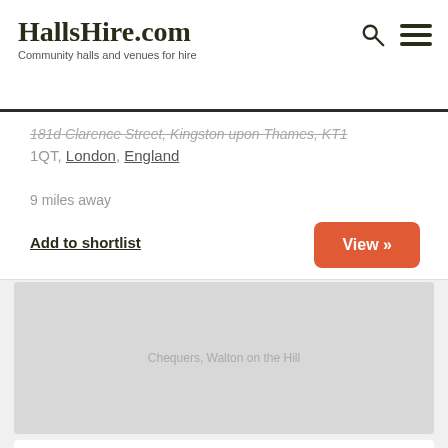HallsHire.com — Community halls and venues for hire
181d Clarence Street, Kingston upon Thames, KT1 1QT, London, England
9 miles away
Add to shortlist
View »
[Figure (photo): Light grey placeholder image for Chequers, Walton on the Hill venue listing]